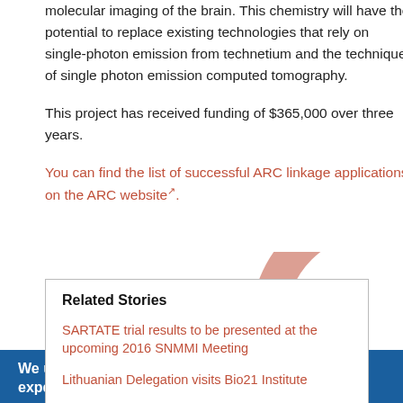molecular imaging of the brain. This chemistry will have the potential to replace existing technologies that rely on single-photon emission from technetium and the technique of single photon emission computed tomography.
This project has received funding of $365,000 over three years.
You can find the list of successful ARC linkage applications on the ARC website.
Related Stories
SARTATE trial results to be presented at the upcoming 2016 SNMMI Meeting
Lithuanian Delegation visits Bio21 Institute
We use cookies on this site to enhance your user experience